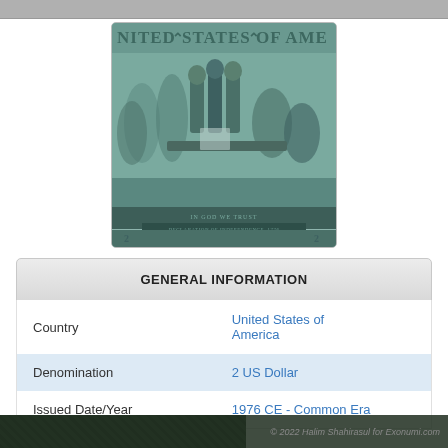[Figure (photo): Back of a 2 US Dollar bill showing the Declaration of Independence signing scene, with text 'UNITED STATES OF AMERICA' along the top, teal/green color scheme.]
GENERAL INFORMATION
| Field | Value |
| --- | --- |
| Country | United States of America |
| Denomination | 2 US Dollar |
| Issued Date/Year | 1976 CE - Common Era |
© 2022 Halim Shahirasul for Exonumi.com